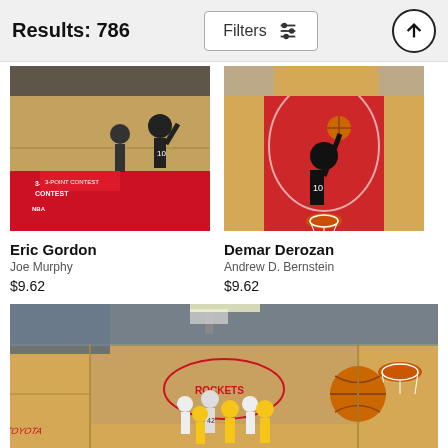Results: 786
Filters
[Figure (photo): NBA basketball player Eric Gordon shooting during 3-Point Contest]
Eric Gordon
Joe Murphy
$9.62
[Figure (photo): Demar Derozan dunking aerial view during NBA game, Toronto Raptors player]
Demar Derozan
Andrew D. Bernstein
$9.62
[Figure (photo): Wide angle basketball court shot with players and crowd, Houston Rockets arena]